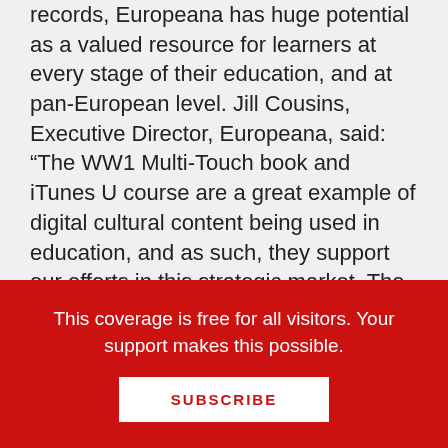records, Europeana has huge potential as a valued resource for learners at every stage of their education, and at pan-European level. Jill Cousins, Executive Director, Europeana, said: “The WW1 Multi-Touch book and iTunes U course are a great example of digital cultural content being used in education, and as such, they support our efforts in this strategic market. The ADE programme provides an excellent framework connecting cultural heritage institutions and teachers and enabling them to share expertise, content and new technologies for the benefit of both educators and students. Looking ahead, we
This coverage is free for all visitors. Your support makes this possible.
SUBSCRIBE